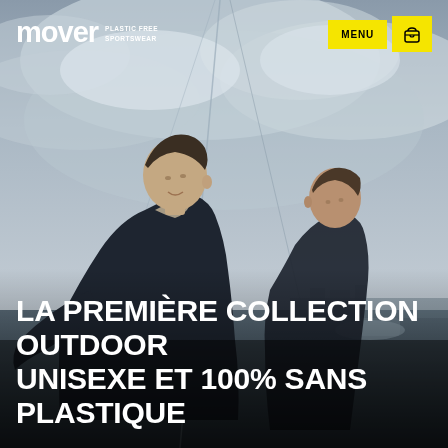[Figure (photo): Two men in dark navy outdoor jackets on a sailboat, looking upward at the sail/rigging against a cloudy sky, with water and a distant shore visible in the background.]
mover PLASTIC FREE SPORTSWEAR
MENU
LA PREMIÈRE COLLECTION OUTDOOR UNISEXE ET 100% SANS PLASTIQUE